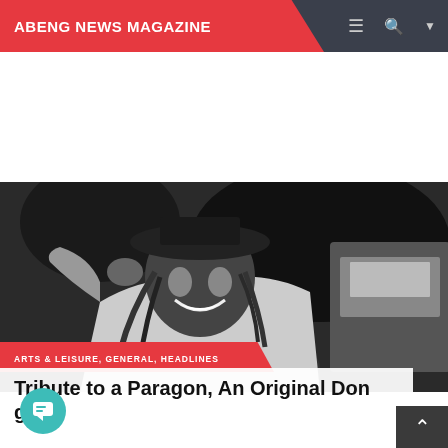ABENG NEWS MAGAZINE
[Figure (photo): Black and white photograph of a man with dreadlocks wearing a hat, smiling and gesturing outdoors near a vehicle]
ARTS & LEISURE, GENERAL, HEADLINES
Tribute to a Paragon, An Original Don gon